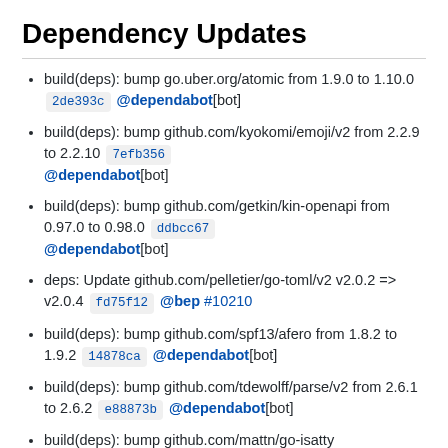Dependency Updates
build(deps): bump go.uber.org/atomic from 1.9.0 to 1.10.0  2de393c  @dependabot[bot]
build(deps): bump github.com/kyokomi/emoji/v2 from 2.2.9 to 2.2.10  7efb356  @dependabot[bot]
build(deps): bump github.com/getkin/kin-openapi from 0.97.0 to 0.98.0  ddbcc67  @dependabot[bot]
deps: Update github.com/pelletier/go-toml/v2 v2.0.2 => v2.0.4  fd75f12  @bep  #10210
build(deps): bump github.com/spf13/afero from 1.8.2 to 1.9.2  14878ca  @dependabot[bot]
build(deps): bump github.com/tdewolff/parse/v2 from 2.6.1 to 2.6.2  e88873b  @dependabot[bot]
build(deps): bump github.com/mattn/go-isatty